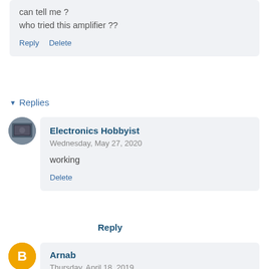can tell me ?
who tried this amplifier ??
Reply   Delete
▾ Replies
Electronics Hobbyist
Wednesday, May 27, 2020
working
Delete
Reply
Arnab
Thursday, April 18, 2019